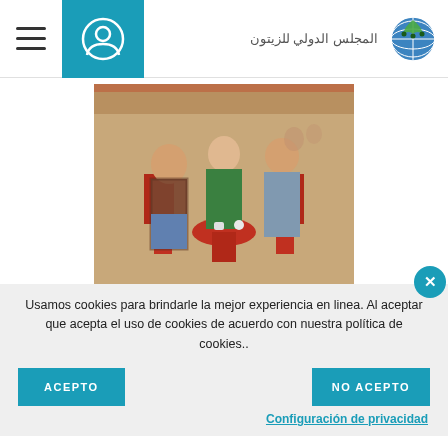المجلس الدولي للزيتون
[Figure (photo): Three people sitting around a small red table in a restaurant with red chairs and Moorish tile decor. One man with beard on left, woman in green jacket in center, older man in light blue shirt on right.]
Usamos cookies para brindarle la mejor experiencia en linea. Al aceptar que acepta el uso de cookies de acuerdo con nuestra política de cookies..
ACEPTO
NO ACEPTO
Configuración de privacidad
ENVIRONMENT